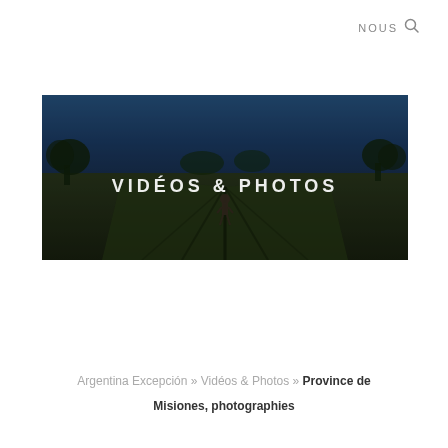NOUS 🔍
[Figure (photo): Landscape photo of a field with dark green rows of low crops, a person walking in the middle row, trees along the horizon, and a clear blue sky. White text overlay reads 'VIDÉOS & PHOTOS'.]
Argentina Excepción » Vidéos & Photos » Province de Misiones, photographies